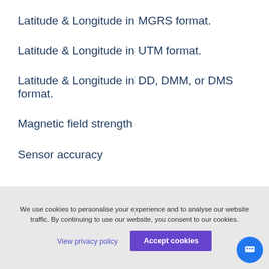Latitude & Longitude in MGRS format.
Latitude & Longitude in UTM format.
Latitude & Longitude in DD, DMM, or DMS format.
Magnetic field strength
Sensor accuracy
We use cookies to personalise your experience and to analyse our website traffic. By continuing to use our website, you consent to our cookies.
View privacy policy
Accept cookies